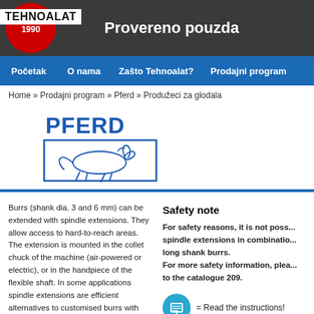TEHNOALAT 1990 | Provereno pouzda...
Početak | O nama | Zašto Tehnoalat? | Prodajni program
Home » Prodajni program » Pferd » Produžeci za glodala
[Figure (logo): PFERD brand logo with horse illustration]
Burrs (shank dia. 3 and 6 mm) can be extended with spindle extensions. They allow access to hard-to-reach areas. The extension is mounted in the collet chuck of the machine (air-powered or electric), or in the handpiece of the flexible shaft. In some applications spindle extensions are efficient alternatives to customised burrs with long shanks.
Safety note
For safety reasons, it is not poss... spindle extensions in combination... long shank burrs.
For more safety information, plea... to the catalogue 209.
= Read the instructions!